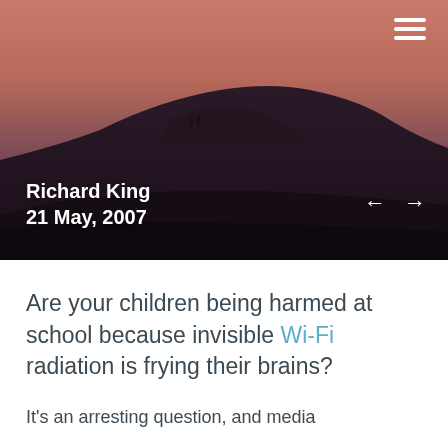[Figure (photo): Landscape photo of a hill silhouette against a pinkish-red dusk sky, with dark foreground terrain]
Richard King
21 May, 2007
Are your children being harmed at school because invisible Wi-Fi radiation is frying their brains?
It's an arresting question, and media